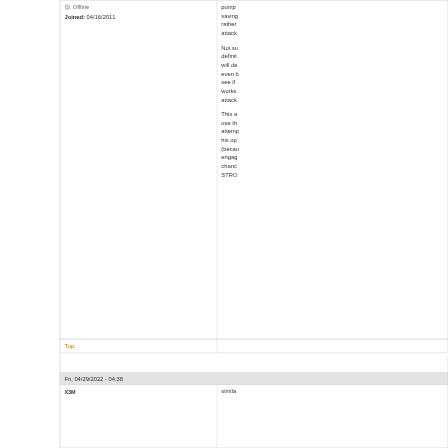Offline
Joined: 04/16/2011
pump saving rather attack Not su definit will de even b see if works attack This a use th attemp his op (beca engag chanc STRO
Top
Fri, 04/29/2022 - 04:38
X3M
simila